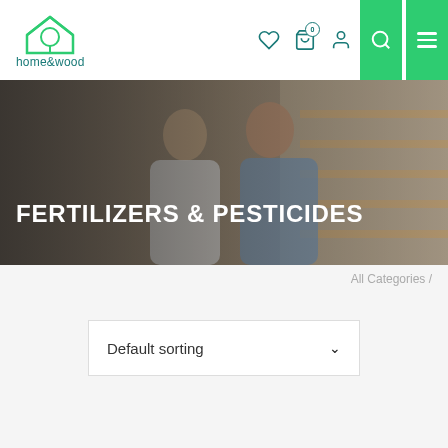[Figure (logo): home&wood logo with house icon]
[Figure (photo): Hero banner photo of a couple in a hardware/garden store with text FERTILIZERS & PESTICIDES overlaid]
FERTILIZERS & PESTICIDES
All Categories /
Default sorting